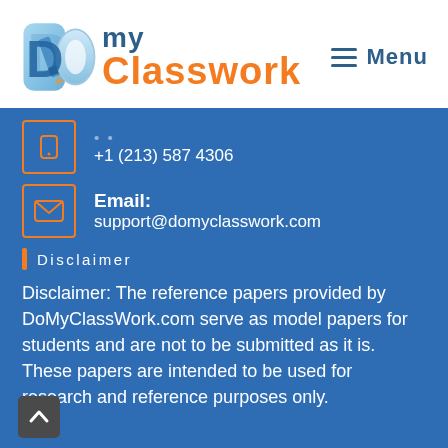[Figure (logo): DoMyClasswork logo with stylized D/O icon and text 'DO my Classwork']
≡  Menu
+1 (213) 587 4306
Email: support@domyclasswork.com
Disclaimer
Disclaimer: The reference papers provided by DoMyClassWork.com serve as model papers for students and are not to be submitted as it is. These papers are intended to be used for research and reference purposes only.